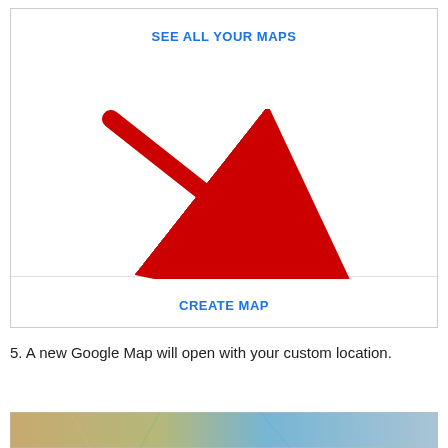[Figure (screenshot): Screenshot of Google Maps interface showing 'SEE ALL YOUR MAPS' header text in blue, a large white content area, a horizontal divider line, and 'CREATE MAP' link in blue at the bottom. A large red arrow points diagonally from upper-left to lower-right toward the 'CREATE MAP' link.]
5. A new Google Map will open with your custom location.
[Figure (screenshot): Bottom edge of a Google Maps thumbnail/preview image showing map terrain.]